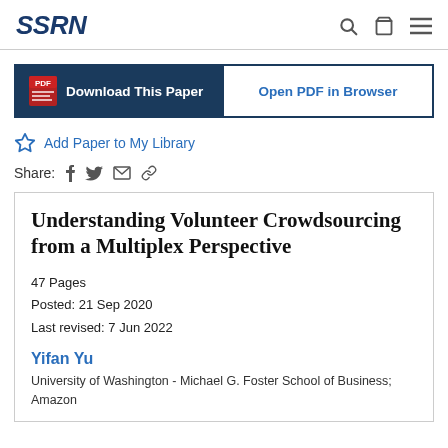SSRN
Download This Paper
Open PDF in Browser
Add Paper to My Library
Share: f [twitter] [email] [link]
Understanding Volunteer Crowdsourcing from a Multiplex Perspective
47 Pages
Posted: 21 Sep 2020
Last revised: 7 Jun 2022
Yifan Yu
University of Washington - Michael G. Foster School of Business; Amazon